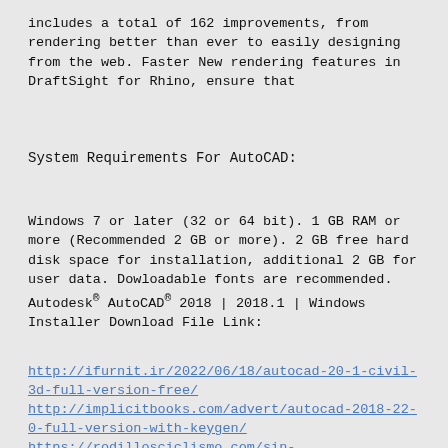includes a total of 162 improvements, from rendering better than ever to easily designing from the web. Faster New rendering features in DraftSight for Rhino, ensure that
System Requirements For AutoCAD:
Windows 7 or later (32 or 64 bit). 1 GB RAM or more (Recommended 2 GB or more). 2 GB free hard disk space for installation, additional 2 GB for user data. Dowloadable fonts are recommended. Autodesk® AutoCAD® 2018 | 2018.1 | Windows Installer Download File Link:
http://ifurnit.ir/2022/06/18/autocad-20-1-civil-3d-full-version-free/ http://implicitbooks.com/advert/autocad-2018-22-0-full-version-with-keygen/ https://rodillosciclismo.com/sin-categoria/autocad-19-1-civil-3d-cracked-license-key-download-latest-2022/ https://jewishafrica.news/advert/autodesk-